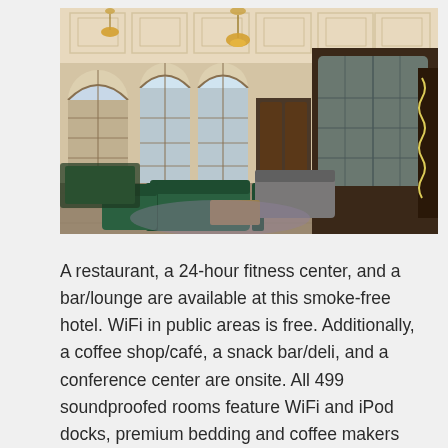[Figure (photo): Elegant hotel lobby interior with high coffered ceilings, tall arched windows with decorative glazing, crystal chandeliers, green velvet sofas and seating areas, marble floors, and a reception/concierge desk in the background.]
A restaurant, a 24-hour fitness center, and a bar/lounge are available at this smoke-free hotel. WiFi in public areas is free. Additionally, a coffee shop/café, a snack bar/deli, and a conference center are onsite. All 499 soundproofed rooms feature WiFi and iPod docks, premium bedding and coffee makers